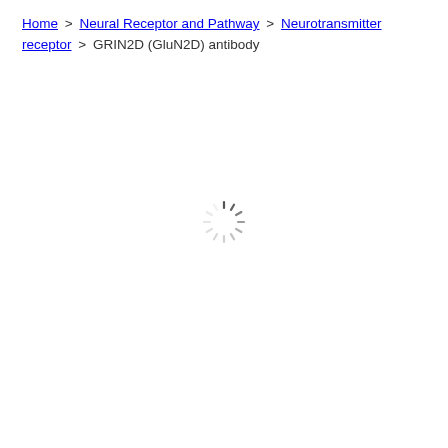Home > Neural Receptor and Pathway > Neurotransmitter receptor > GRIN2D (GluN2D) antibody
[Figure (other): Loading spinner icon — a circular arrangement of short dashes radiating outward, indicating page content is loading]